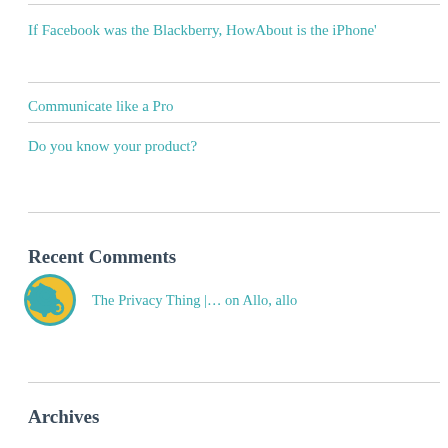If Facebook was the Blackberry, HowAbout is the iPhone'
Communicate like a Pro
Do you know your product?
Recent Comments
The Privacy Thing |… on Allo, allo
Archives